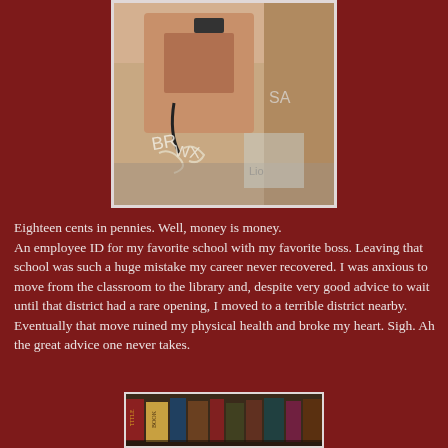[Figure (photo): A vintage pay phone covered in graffiti and stickers, mounted on a wooden surface, with graffiti visible in the background.]
Eighteen cents in pennies. Well, money is money. An employee ID for my favorite school with my favorite boss. Leaving that school was such a huge mistake my career never recovered. I was anxious to move from the classroom to the library and, despite very good advice to wait until that district had a rare opening, I moved to a terrible district nearby. Eventually that move ruined my physical health and broke my heart. Sigh. Ah the great advice one never takes.
[Figure (photo): A stack of old books seen from the side, showing spines with worn bindings.]